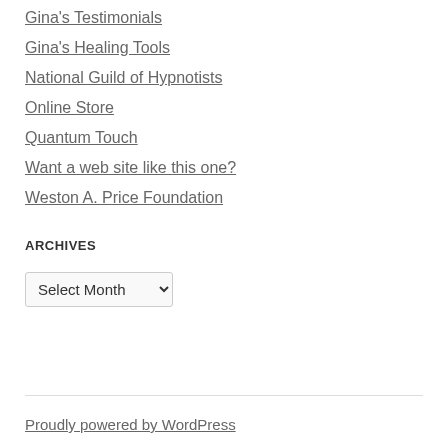Gina's Testimonials
Gina's Healing Tools
National Guild of Hypnotists
Online Store
Quantum Touch
Want a web site like this one?
Weston A. Price Foundation
ARCHIVES
Select Month
Proudly powered by WordPress